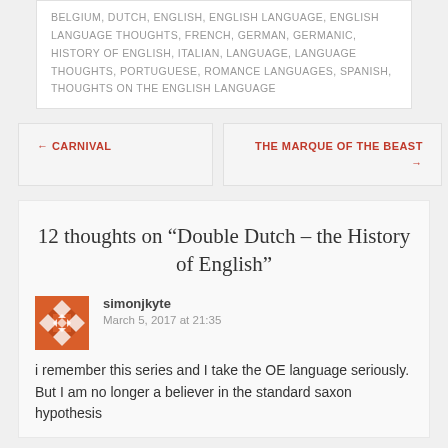BELGIUM, DUTCH, ENGLISH, ENGLISH LANGUAGE, ENGLISH LANGUAGE THOUGHTS, FRENCH, GERMAN, GERMANIC, HISTORY OF ENGLISH, ITALIAN, LANGUAGE, LANGUAGE THOUGHTS, PORTUGUESE, ROMANCE LANGUAGES, SPANISH, THOUGHTS ON THE ENGLISH LANGUAGE
← CARNIVAL
THE MARQUE OF THE BEAST →
12 thoughts on “Double Dutch – the History of English”
simonjkyte
March 5, 2017 at 21:35
i remember this series and I take the OE language seriously. But I am no longer a believer in the standard saxon hypothesis